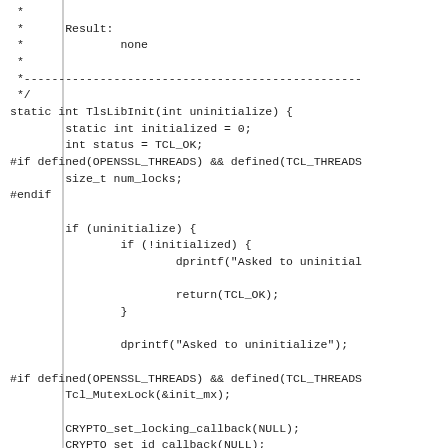Code snippet showing TlsLibInit function with OpenSSL thread handling, mutex locking, and crypto callbacks.